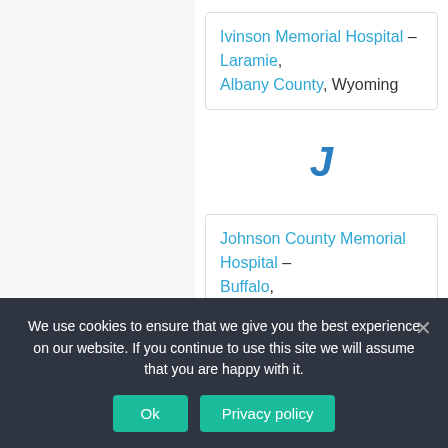Ivinson Memorial Hospital – Laramie, Albany County, Wyoming
J
Johnson County Memorial Hospital – Buffalo, Johnson County, Wyoming
We use cookies to ensure that we give you the best experience on our website. If you continue to use this site we will assume that you are happy with it.